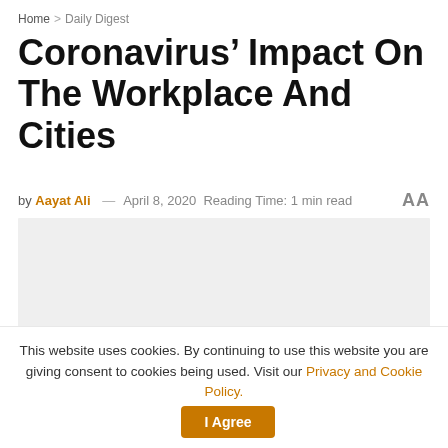Home > Daily Digest
Coronavirus’ Impact On The Workplace And Cities
by Aayat Ali — April 8, 2020  Reading Time: 1 min read  AA
[Figure (photo): Gray placeholder image area for article photo]
This website uses cookies. By continuing to use this website you are giving consent to cookies being used. Visit our Privacy and Cookie Policy.
I Agree